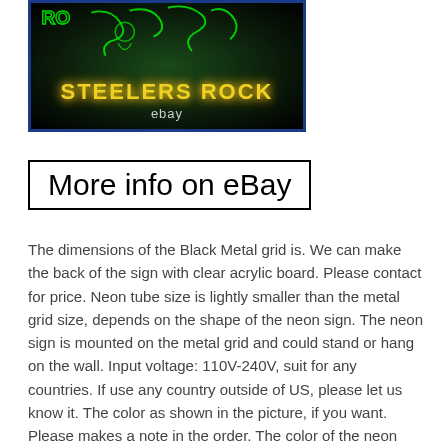[Figure (photo): Neon sign reading STEELERS ROCK with green neon artwork on dark background, eBay watermark at bottom]
More info on eBay
The dimensions of the Black Metal grid is. We can make the back of the sign with clear acrylic board. Please contact for price. Neon tube size is lightly smaller than the metal grid size, depends on the shape of the neon sign. The neon sign is mounted on the metal grid and could stand or hang on the wall. Input voltage: 110V-240V, suit for any countries. If use any country outside of US, please let us know it. The color as shown in the picture, if you want. Please makes a note in the order. The color of the neon sign may vary slightly from the picture you can see on your computer screen. This is BRAND NEW, 100% hand-made, true hand-bend, gas-filled, factory